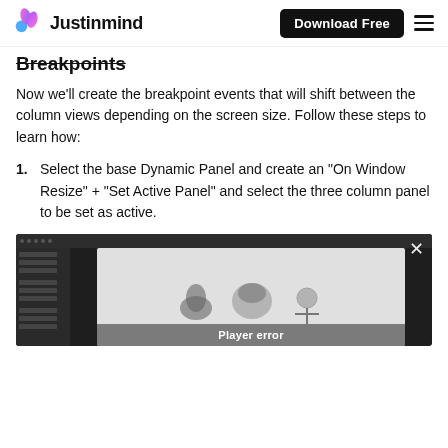Justinmind | Download Free
Breakpoints
Now we'll create the breakpoint events that will shift between the column views depending on the screen size. Follow these steps to learn how:
1. Select the base Dynamic Panel and create an "On Window Resize" + "Set Active Panel" and select the three column panel to be set as active.
[Figure (screenshot): Screenshot of Justinmind application showing a dynamic panel with three bird images and a 'Player error' overlay bar]